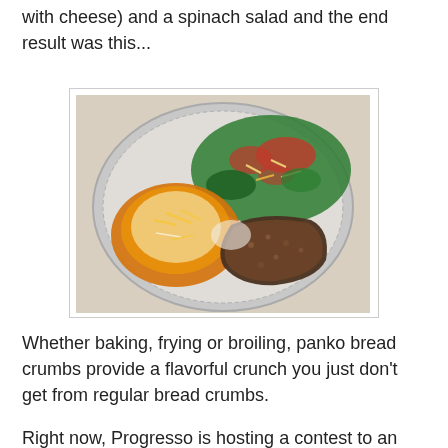with cheese) and a spinach salad and the end result was this...
[Figure (photo): A dinner plate with three items: a spinach salad with tomatoes and shredded cheese on top, a cheesy casserole dish, and a panko-breaded piece of meat, all served on a foil-lined plate.]
Whether baking, frying or broiling, panko bread crumbs provide a flavorful crunch you just don't get from regular bread crumbs.
Right now, Progresso is hosting a contest to an amazing